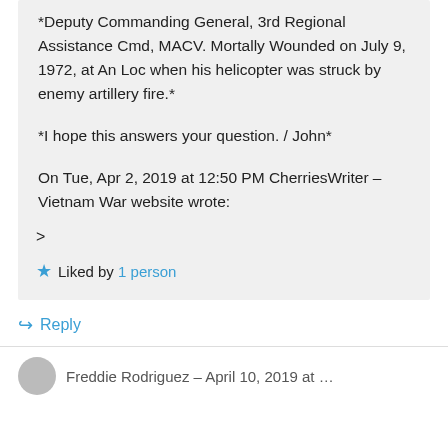*Deputy Commanding General, 3rd Regional Assistance Cmd, MACV. Mortally Wounded on July 9, 1972, at An Loc when his helicopter was struck by enemy artillery fire.*
*I hope this answers your question. / John*
On Tue, Apr 2, 2019 at 12:50 PM CherriesWriter – Vietnam War website wrote:
>
Liked by 1 person
Reply
Freddie Rodriguez – April 10, 2019 at …